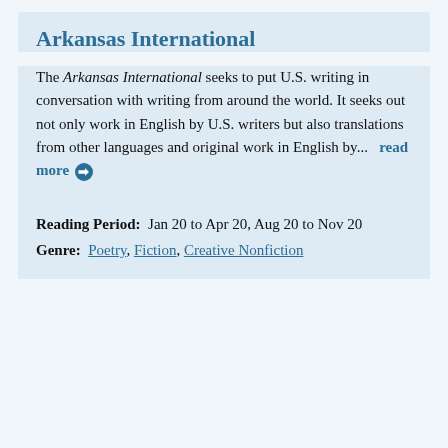Arkansas International
The Arkansas International seeks to put U.S. writing in conversation with writing from around the world. It seeks out not only work in English by U.S. writers but also translations from other languages and original work in English by...  read more ➔
Reading Period:  Jan 20 to Apr 20, Aug 20 to Nov 20
Genre:  Poetry, Fiction, Creative Nonfiction
[Figure (photo): Cover image of Arkansas Review: A Journal of Delta Studies magazine, showing a dark stormy sky with clouds]